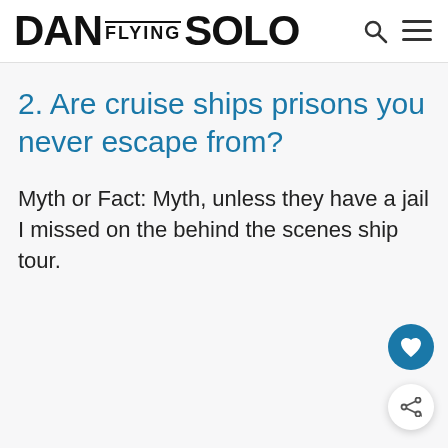DAN FLYING SOLO
2. Are cruise ships prisons you never escape from?
Myth or Fact: Myth, unless they have a jail I missed on the behind the scenes ship tour.